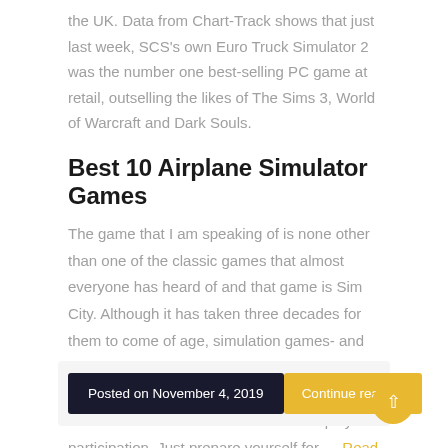the UK. Data from Chart-Track shows that just last week, SCS's own Euro Truck Simulator 2 was the number one best-selling PC game at retail, outselling the likes of The Sims 3, World of Warcraft and Dark Souls.
Best 10 Airplane Simulator Games
The game that I am speaking of is none other than one of the classic games that almost everyone has heard of and that game is Sim City. Although it has taken three decades for them to come of age, simulation games- and SimCity in particular-are really children of the '60s. A simulation game that explores such areas as customer satisfaction and employee participation. Just prepare yourself for … Read More..
Posted on November 4, 2019
Continue reading